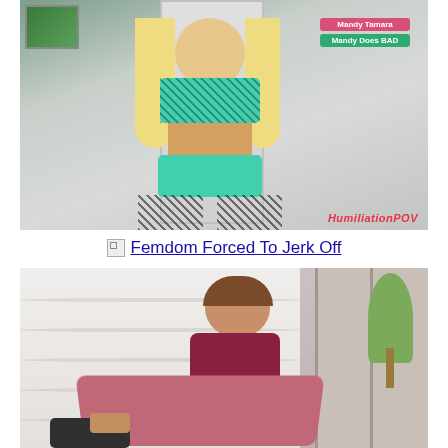[Figure (photo): Video thumbnail showing a blonde woman in a teal sports bra, fishnet tights, and teal bikini bottoms standing in a white room. Wall signs visible in upper right reading 'Mandy Tamara' and 'Mandy Does BAD'. Watermark 'HumiliationPOV' in red at bottom right.]
Femdom Forced To Jerk Off
[Figure (photo): Video thumbnail showing a brunette woman in pink yoga pants and dark top sitting on a surface with legs extended toward camera, against a white textured wall with a plant and sliding door visible in background.]